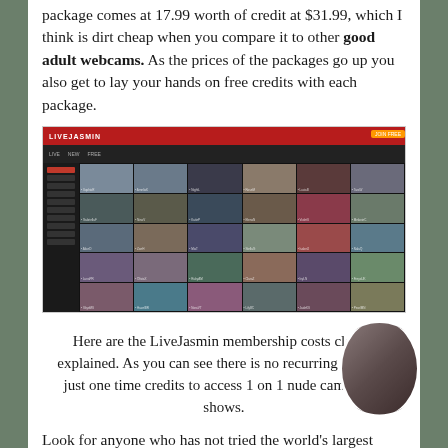package comes at 17.99 worth of credit at $31.99, which I think is dirt cheap when you compare it to other good adult webcams. As the prices of the packages go up you also get to lay your hands on free credits with each package.
[Figure (screenshot): Screenshot of LiveJasmin adult webcam website showing a grid of performer thumbnails with a red header bar and dark sidebar navigation.]
Here are the LiveJasmin membership costs clearly explained. As you can see there is no recurring charges, just one time credits to access 1 on 1 nude cam girl shows.
Look for anyone who has not tried the world's largest truly private sex webcam show site your just missing the